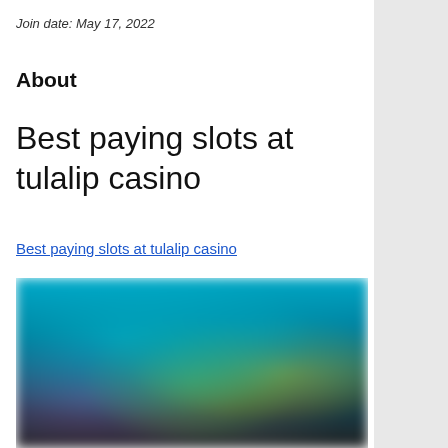Join date: May 17, 2022
About
Best paying slots at tulalip casino
Best paying slots at tulalip casino
[Figure (photo): Blurred screenshot of casino slot game interface with colorful characters and game tiles on a dark teal/blue background]